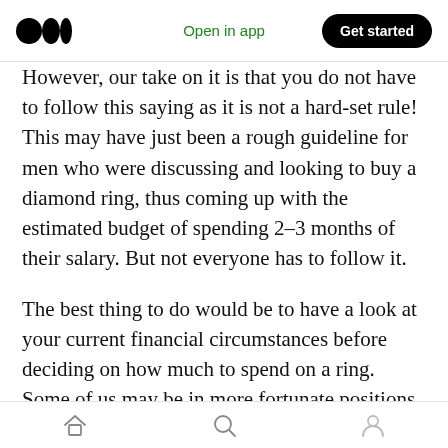Medium logo | Open in app | Get started
However, our take on it is that you do not have to follow this saying as it is not a hard-set rule! This may have just been a rough guideline for men who were discussing and looking to buy a diamond ring, thus coming up with the estimated budget of spending 2–3 months of their salary. But not everyone has to follow it.
The best thing to do would be to have a look at your current financial circumstances before deciding on how much to spend on a ring. Some of us may be in more fortunate positions, whereas some of us may have more
Home | Search | Profile